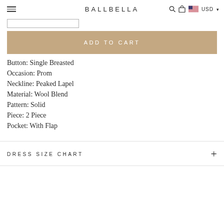BALLBELLA USD
[Figure (screenshot): Input box / size selector field]
ADD TO CART
Button: Single Breasted
Occasion: Prom
Neckline: Peaked Lapel
Material: Wool Blend
Pattern: Solid
Piece: 2 Piece
Pocket: With Flap
DRESS SIZE CHART